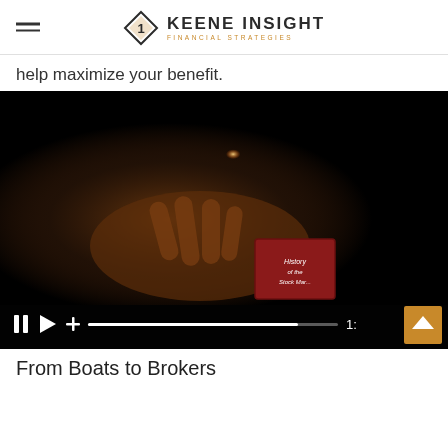KEENE INSIGHT FINANCIAL STRATEGIES
help maximize your benefit.
[Figure (screenshot): Dark dramatic photo of hands holding a small red book titled 'History of the Stock Market', lit by a candle or small light source. A video player control bar is overlaid at the bottom with pause, play, plus icons, a progress bar, timestamp '1:' and an up-arrow button in gold.]
From Boats to Brokers